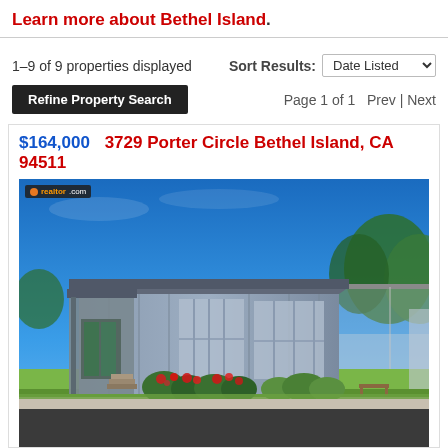Learn more about Bethel Island.
1–9 of 9 properties displayed
Sort Results: Date Listed
Refine Property Search
Page 1 of 1   Prev | Next
$164,000   3729 Porter Circle Bethel Island, CA 94511
[Figure (photo): Exterior photo of a single-story manufactured/mobile home at 3729 Porter Circle, Bethel Island, CA. The home has a blue-grey vertical panel siding, a flat-style roof with overhangs, large windows, red flowering shrubs in front, and a carport on the right side. Blue sky background with trees visible behind the structure. Address number 3729 visible on the front.]